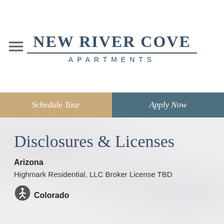NEW RIVER COVE
APARTMENTS
Schedule Tour
Apply Now
Disclosures & Licenses
Arizona
Highmark Residential, LLC Broker License TBD
Colorado